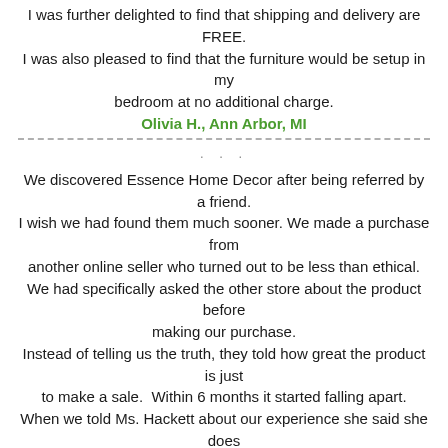I was further delighted to find that shipping and delivery are FREE. I was also pleased to find that the furniture would be setup in my bedroom at no additional charge.
Olivia H., Ann Arbor, MI
. . .
We discovered Essence Home Decor after being referred by a friend. I wish we had found them much sooner. We made a purchase from another online seller who turned out to be less than ethical. We had specifically asked the other store about the product before making our purchase. Instead of telling us the truth, they told how great the product is just to make a sale.  Within 6 months it started falling apart. When we told Ms. Hackett about our experience she said she does not even sell products she feels are unsatisfactory or products that have known quality issues.
Miguel R., Tucson, AZ
. . .
We discovered Essence Home Decor after seeing an advertisement online.